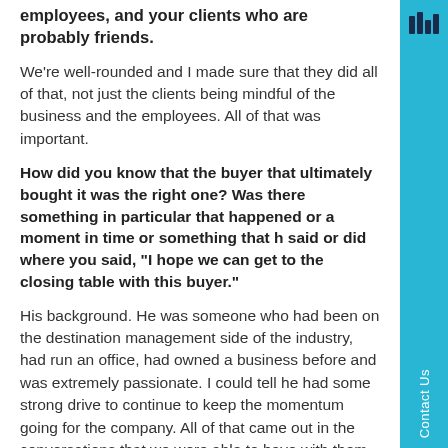employees, and your clients who are probably friends.
We're well-rounded and I made sure that they did all of that, not just the clients being mindful of the business and the employees. All of that was important.
How did you know that the buyer that ultimately bought it was the right one? Was there something in particular that happened or a moment in time or something that he said or did where you said, “I hope we can get to the closing table with this buyer.”
His background. He was someone who had been on the destination management side of the industry, had run an office, had owned a business before and was extremely passionate. I could tell he had some strong drive to continue to keep the momentum going for the company. All of that came out in the conversations that we were able to have with them through the process.
[Figure (logo): Small logo icon on cyan sidebar]